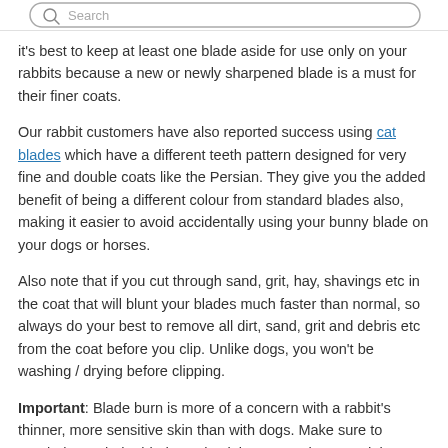[Figure (other): Search bar UI element at the top of the page with a magnifying glass icon and rounded rectangle border]
it's best to keep at least one blade aside for use only on your rabbits because a new or newly sharpened blade is a must for their finer coats.
Our rabbit customers have also reported success using cat blades which have a different teeth pattern designed for very fine and double coats like the Persian. They give you the added benefit of being a different colour from standard blades also, making it easier to avoid accidentally using your bunny blade on your dogs or horses.
Also note that if you cut through sand, grit, hay, shavings etc in the coat that will blunt your blades much faster than normal, so always do your best to remove all dirt, sand, grit and debris etc from the coat before you clip. Unlike dogs, you won't be washing / drying before clipping.
Important: Blade burn is more of a concern with a rabbit's thinner, more sensitive skin than with dogs. Make sure to regularly touch the blade to check it's not too hot. Read the blade care guide about